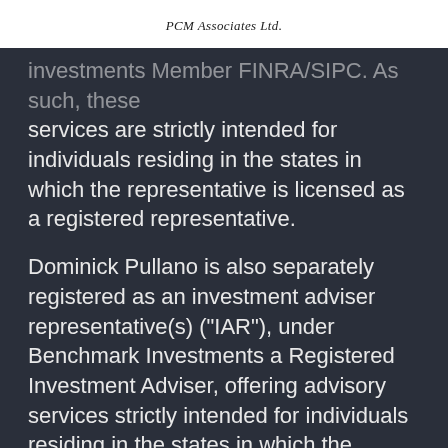PCM Associates Ltd.
investments Member FINRA/SIPC. As such, these services are strictly intended for individuals residing in the states in which the representative is licensed as a registered representative.
Dominick Pullano is also separately registered as an investment adviser representative(s) ("IAR"), under Benchmark Investments a Registered Investment Adviser, offering advisory services strictly intended for individuals residing in the states in which the representative is licensed as an "IAR".
PCM Associates LTD & Benchmark Investments, nor its agents, provides tax, legal, or accounting advice. Please consult your own tax, legal, or